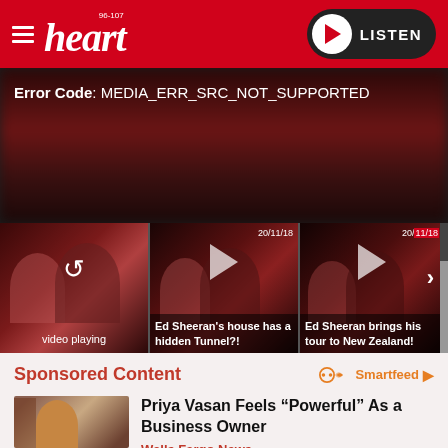heart 96-107 | LISTEN
Error Code: MEDIA_ERR_SRC_NOT_SUPPORTED
[Figure (screenshot): Video thumbnail showing two people, with 'video playing' label and refresh icon overlay]
video playing
[Figure (screenshot): Video thumbnail dated 20/11/18 with play button overlay]
Ed Sheeran's house has a hidden Tunnel?!
[Figure (screenshot): Video thumbnail dated 20/11/18 with play button overlay]
Ed Sheeran brings his tour to New Zealand!
Sponsored Content
Smartfeed
[Figure (photo): Photo of Priya Vasan, a woman smiling, wearing a gold necklace]
Priya Vasan Feels “Powerful” As a Business Owner
Wells Fargo News